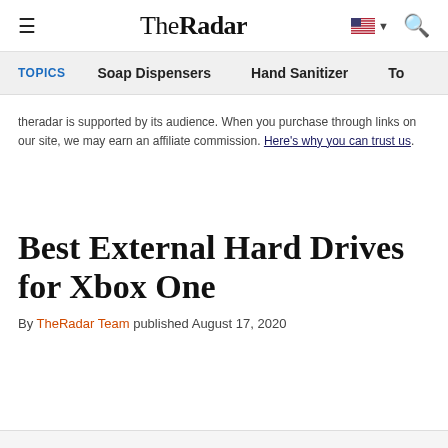TheRadar
TOPICS   Soap Dispensers   Hand Sanitizer   To
theradar is supported by its audience. When you purchase through links on our site, we may earn an affiliate commission. Here's why you can trust us.
Best External Hard Drives for Xbox One
By TheRadar Team published August 17, 2020